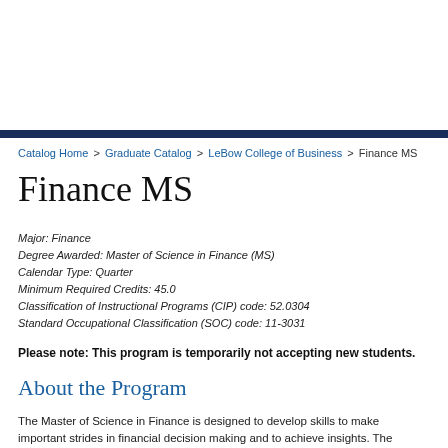Catalog Home > Graduate Catalog > LeBow College of Business > Finance MS
Finance MS
Major: Finance
Degree Awarded: Master of Science in Finance (MS)
Calendar Type: Quarter
Minimum Required Credits: 45.0
Classification of Instructional Programs (CIP) code: 52.0304
Standard Occupational Classification (SOC) code: 11-3031
Please note: This program is temporarily not accepting new students.
About the Program
The Master of Science in Finance is designed to develop skills to make important strides in financial decision making and to achieve insights. The